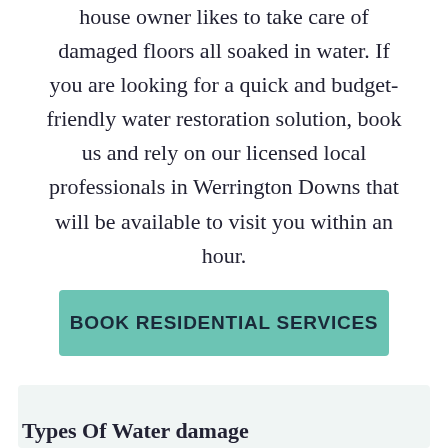house owner likes to take care of damaged floors all soaked in water. If you are looking for a quick and budget-friendly water restoration solution, book us and rely on our licensed local professionals in Werrington Downs that will be available to visit you within an hour.
BOOK RESIDENTIAL SERVICES
Types Of Water damage